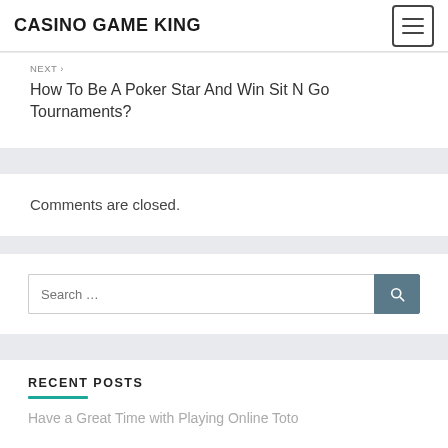CASINO GAME KING
NEXT ›
How To Be A Poker Star And Win Sit N Go Tournaments?
Comments are closed.
Search …
RECENT POSTS
Have a Great Time with Playing Online Toto